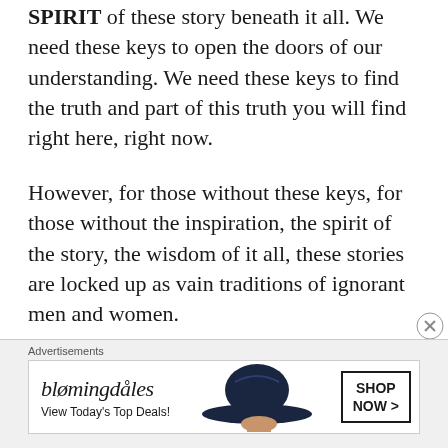SPIRIT of these story beneath it all. We need these keys to open the doors of our understanding. We need these keys to find the truth and part of this truth you will find right here, right now.
However, for those without these keys, for those without the inspiration, the spirit of the story, the wisdom of it all, these stories are locked up as vain traditions of ignorant men and women.
[Figure (other): Bloomingdale's advertisement banner with hat image and Shop Now button]